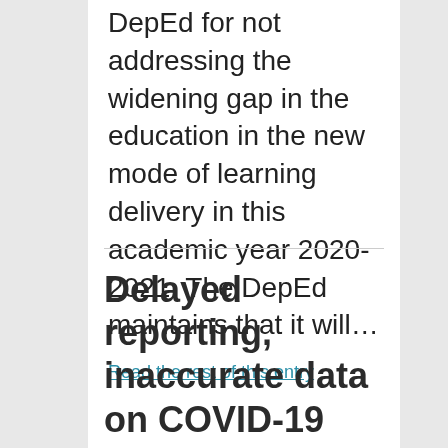DepEd for not addressing the widening gap in the education in the new mode of learning delivery in this academic year 2020-2021. The DepEd maintains that it will...
Read the rest of this entry
Delayed reporting, inaccurate data on COVID-19 worry advocates